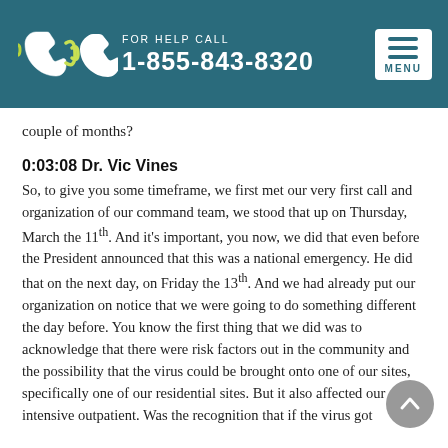FOR HELP CALL 1-855-843-8320
couple of months?
0:03:08 Dr. Vic Vines
So, to give you some timeframe, we first met our very first call and organization of our command team, we stood that up on Thursday, March the 11th. And it's important, you now, we did that even before the President announced that this was a national emergency. He did that on the next day, on Friday the 13th. And we had already put our organization on notice that we were going to do something different the day before. You know the first thing that we did was to acknowledge that there were risk factors out in the community and the possibility that the virus could be brought onto one of our sites, specifically one of our residential sites. But it also affected our intensive outpatient. Was the recognition that if the virus got